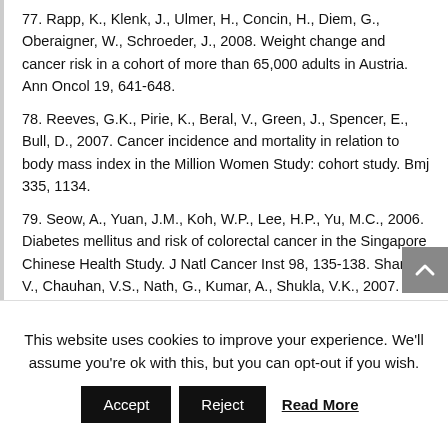77. Rapp, K., Klenk, J., Ulmer, H., Concin, H., Diem, G., Oberaigner, W., Schroeder, J., 2008. Weight change and cancer risk in a cohort of more than 65,000 adults in Austria. Ann Oncol 19, 641-648.
78. Reeves, G.K., Pirie, K., Beral, V., Green, J., Spencer, E., Bull, D., 2007. Cancer incidence and mortality in relation to body mass index in the Million Women Study: cohort study. Bmj 335, 1134.
79. Seow, A., Yuan, J.M., Koh, W.P., Lee, H.P., Yu, M.C., 2006. Diabetes mellitus and risk of colorectal cancer in the Singapore Chinese Health Study. J Natl Cancer Inst 98, 135-138. Sharma, V., Chauhan, V.S., Nath, G., Kumar, A., Shukla, V.K., 2007. Role of bile bacteria in
This website uses cookies to improve your experience. We'll assume you're ok with this, but you can opt-out if you wish.